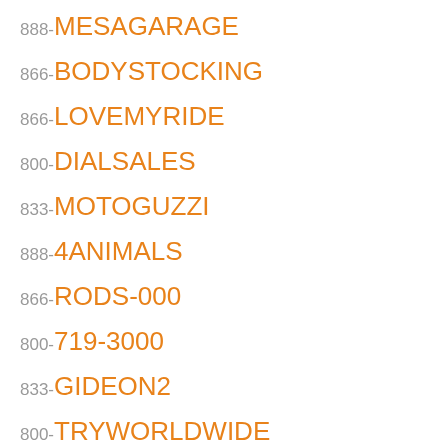888-MESAGARAGE
866-BODYSTOCKING
866-LOVEMYRIDE
800-DIALSALES
833-MOTOGUZZI
888-4ANIMALS
866-RODS-000
800-719-3000
833-GIDEON2
800-TRYWORLDWIDE
800-888-8882